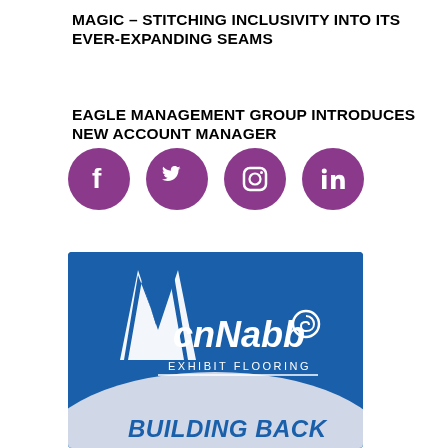MAGIC – STITCHING INCLUSIVITY INTO ITS EVER-EXPANDING SEAMS
EAGLE MANAGEMENT GROUP INTRODUCES NEW ACCOUNT MANAGER
[Figure (infographic): Four purple circular social media icons: Facebook, Twitter, Instagram, LinkedIn]
[Figure (logo): McNabb Exhibit Flooring advertisement with blue background, white McNabb logo, curved design, and 'BUILDING BACK' text at bottom in bold italic blue]